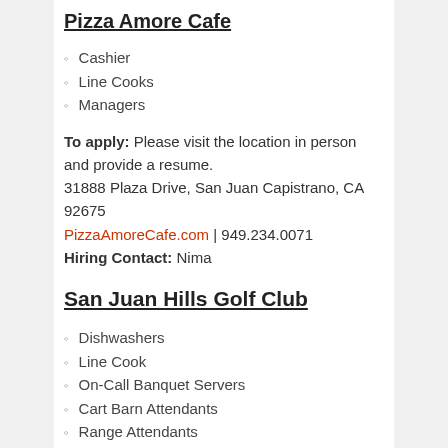Pizza Amore Cafe
Cashier
Line Cooks
Managers
To apply: Please visit the location in person and provide a resume. 31888 Plaza Drive, San Juan Capistrano, CA 92675 PizzaAmoreCafe.com | 949.234.0071 Hiring Contact: Nima
San Juan Hills Golf Club
Dishwashers
Line Cook
On-Call Banquet Servers
Cart Barn Attendants
Range Attendants